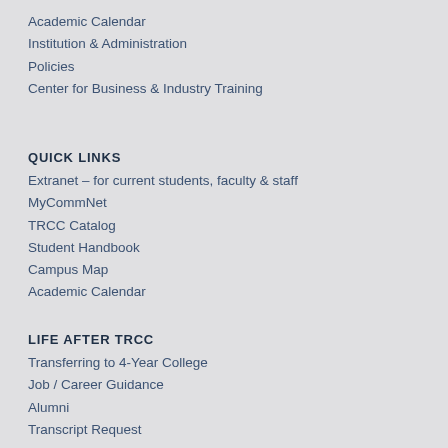Academic Calendar
Institution & Administration
Policies
Center for Business & Industry Training
QUICK LINKS
Extranet – for current students, faculty & staff
MyCommNet
TRCC Catalog
Student Handbook
Campus Map
Academic Calendar
LIFE AFTER TRCC
Transferring to 4-Year College
Job / Career Guidance
Alumni
Transcript Request